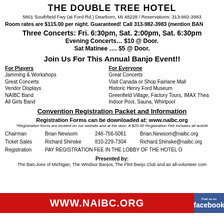THE DOUBLE TREE HOTEL
5801 Southfield Fwy (at Ford Rd.) Dearborn, MI 48228 / Reservations: 313-982-3983
Room rates are $115.00 per night. Guaranteed!  Call 313-982-3983 (mention BAN
Three Concerts:  Fri. 6:30pm, Sat. 2:00pm, Sat. 6:30pm
Evening Concerts… $10 @ Door.
Sat Matinee …. $5 @ Door.
Join Us For This Annual Banjo Event!!
For Players: Jamming & Workshops, Great Concerts, Vendor Displays, NAIBC Band, All Girls Band
For Everyone: Great Concerts, Visit Canada or Shop Fairlane Mall, Historic Henry Ford Museum, Greenfield Village, Factory Tours, IMAX Theatre, Indoor Pool, Sauna, Whirlpool
Convention Registration Packet and Information
Registration Forms can be downloaded at:  www.naibc.org
*Registration forms are located on our website and at the door. A $20.00 Registration Fee includes all activities
Chairman    Brian Newsom    248-756-5061    Brian.Newsom@naibc.org
Ticket Sales    Richard Shinske    810-229-7304    Richard.Shinske@naibc.org
Registration    PAY REGISTRATION FEE IN THE LOBBY OF THE HOTEL O
Presented by:
The Ban-Joes of Michigan, The Windsor Banjos, The Flint Banjo Club and an all-volunteer com
WWW.NAIBC.ORG